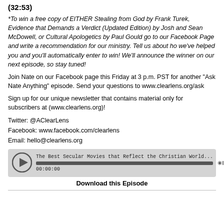(32:53)
*To win a free copy of EITHER Stealing from God by Frank Turek, Evidence that Demands a Verdict (Updated Edition) by Josh and Sean McDowell, or Cultural Apologetics by Paul Gould go to our Facebook Page and write a recommendation for our ministry. Tell us about ho we've helped you and you'll automatically enter to win! We'll announce the winner on our next episode, so stay tuned!
Join Nate on our Facebook page this Friday at 3 p.m. PST for another "Ask Nate Anything" episode. Send your questions to www.clearlens.org/ask
Sign up for our unique newsletter that contains material only for subscribers at (www.clearlens.org)!
Twitter: @AClearLens
Facebook: www.facebook.com/clearlens
Email: hello@clearlens.org
[Figure (other): Audio player widget showing 'The Best Secular Movies that Reflect the Christian World...' with play button, progress bar, timestamp 00:00:00, and libsyn logo]
Download this Episode